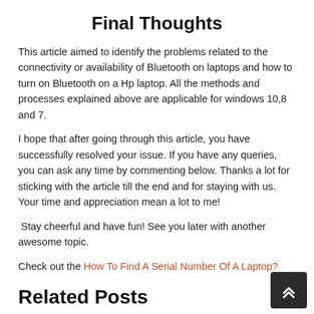Final Thoughts
This article aimed to identify the problems related to the connectivity or availability of Bluetooth on laptops and how to turn on Bluetooth on a Hp laptop. All the methods and processes explained above are applicable for windows 10,8 and 7.
I hope that after going through this article, you have successfully resolved your issue. If you have any queries, you can ask any time by commenting below. Thanks a lot for sticking with the article till the end and for staying with us. Your time and appreciation mean a lot to me!
Stay cheerful and have fun! See you later with another awesome topic.
Check out the How To Find A Serial Number Of A Laptop?
Related Posts